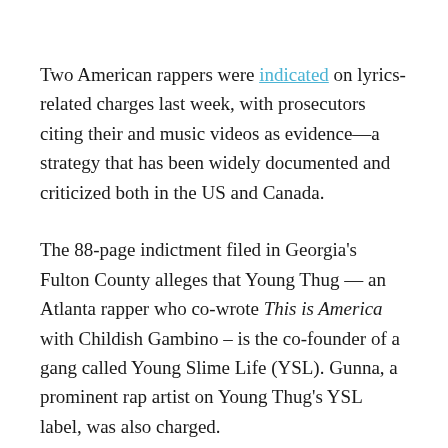Two American rappers were indicated on lyrics-related charges last week, with prosecutors citing their and music videos as evidence—a strategy that has been widely documented and criticized both in the US and Canada.
The 88-page indictment filed in Georgia's Fulton County alleges that Young Thug — an Atlanta rapper who co-wrote This is America with Childish Gambino – is the co-founder of a gang called Young Slime Life (YSL). Gunna, a prominent rap artist on Young Thug's YSL label, was also charged.